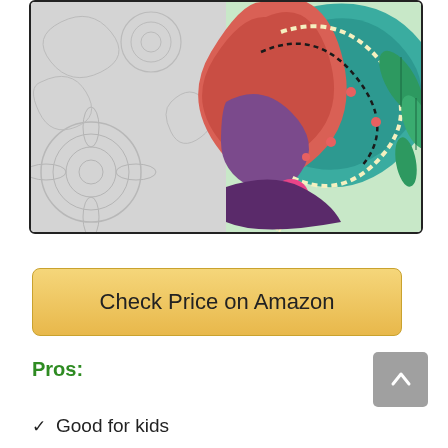[Figure (illustration): Colorful paisley and mandala pattern design on a mouse pad or coloring book page. Left half shows uncolored grey intricate floral/mandala patterns; right half shows vibrant colored paisley motifs in teal, coral/red, purple, and cream with dotted borders and leaf details.]
Check Price on Amazon
Pros:
Good for kids